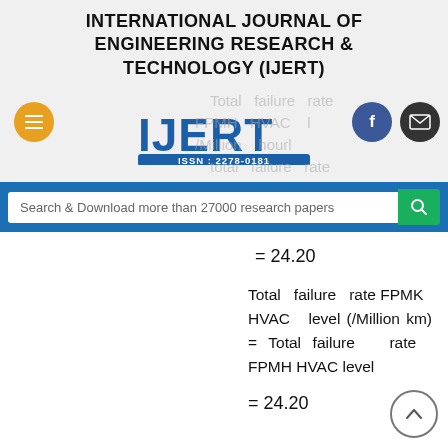INTERNATIONAL JOURNAL OF ENGINEERING RESEARCH & TECHNOLOGY (IJERT)
[Figure (logo): IJERT logo with ISSN: 2278-0181, navigation buttons (hamburger, facebook, email), and watermark text in background]
[Figure (other): Search bar with text: Search & Download more than 27000 research papers]
Total failure rate FPMK HVAC level (/Million km) = Total failure rate FPMH HVAC level